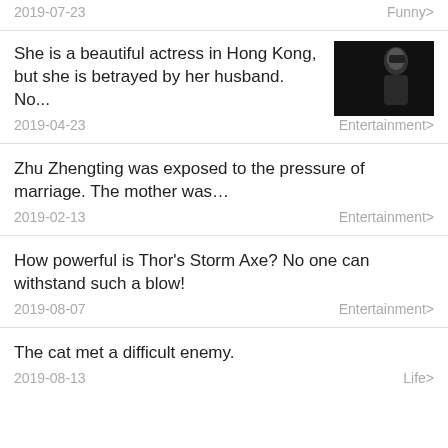2019-07-23  Funny>
She is a beautiful actress in Hong Kong, but she is betrayed by her husband. No...
2019-04-23  Entertainment>
Zhu Zhengting was exposed to the pressure of marriage. The mother was...
2019-02-13  Entertainment>
How powerful is Thor's Storm Axe? No one can withstand such a blow!
2019-08-07  Entertainment>
The cat met a difficult enemy.
2019-08-13  Life>